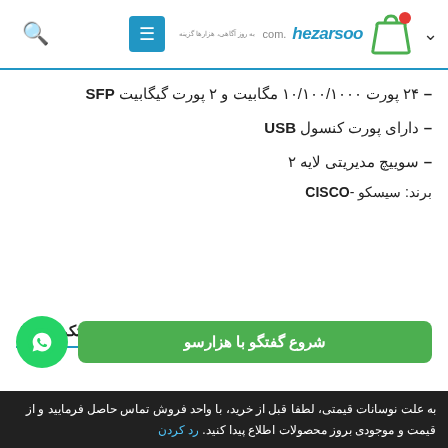hezarsoo.com - navigation bar with logo, menu button, and search
– ۲۴ پورت ۱۰/۱۰۰/۱۰۰۰ مگابیت و ۲ پورت گیگابیت SFP
– دارای پورت کنسول USB
– سوییچ مدیریتی لایه ۲
برند: سیسکو -CISCO
^ توضیحات تکمیلی
شروع گفتگو با هزارسو
به علت نوسانات قیمتی، لطفا قبل از خرید، با واحد فروش تماس حاصل فرمایید و از قیمت و موجودی بروز محصولات اطلاع پیدا کنید. رد کردن